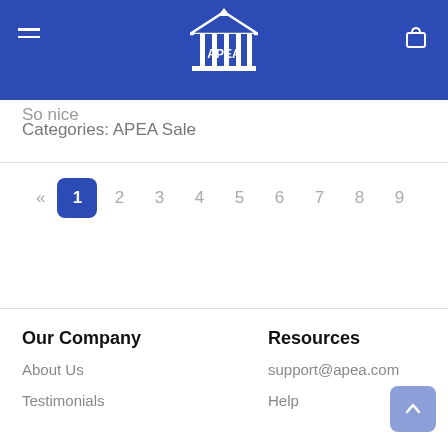APEA
So nice
Categories: APEA Sale
« 1 2 3 4 5 6 7 8 9
Our Company
About Us
Testimonials
Resources
support@apea.com
Help